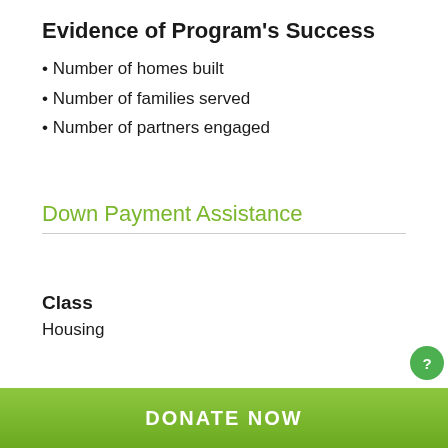Evidence of Program's Success
Number of homes built
Number of families served
Number of partners engaged
Down Payment Assistance
Class
Housing
DONATE NOW